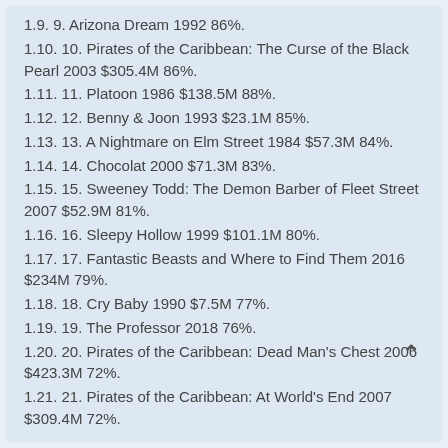1.9. 9. Arizona Dream 1992 86%.
1.10. 10. Pirates of the Caribbean: The Curse of the Black Pearl 2003 $305.4M 86%.
1.11. 11. Platoon 1986 $138.5M 88%.
1.12. 12. Benny & Joon 1993 $23.1M 85%.
1.13. 13. A Nightmare on Elm Street 1984 $57.3M 84%.
1.14. 14. Chocolat 2000 $71.3M 83%.
1.15. 15. Sweeney Todd: The Demon Barber of Fleet Street 2007 $52.9M 81%.
1.16. 16. Sleepy Hollow 1999 $101.1M 80%.
1.17. 17. Fantastic Beasts and Where to Find Them 2016 $234M 79%.
1.18. 18. Cry Baby 1990 $7.5M 77%.
1.19. 19. The Professor 2018 76%.
1.20. 20. Pirates of the Caribbean: Dead Man's Chest 2006 $423.3M 72%.
1.21. 21. Pirates of the Caribbean: At World's End 2007 $309.4M 72%.